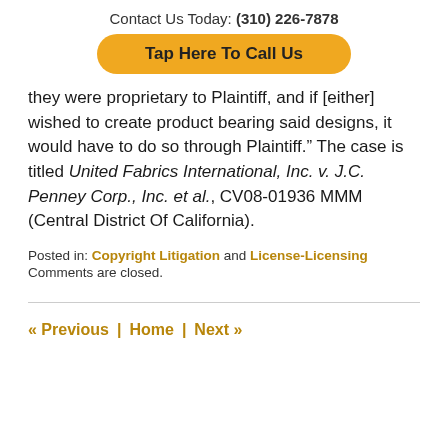Contact Us Today: (310) 226-7878
Tap Here To Call Us
they were proprietary to Plaintiff, and if [either] wished to create product bearing said designs, it would have to do so through Plaintiff." The case is titled United Fabrics International, Inc. v. J.C. Penney Corp., Inc. et al., CV08-01936 MMM (Central District Of California).
Posted in: Copyright Litigation and License-Licensing
Comments are closed.
« Previous | Home | Next »